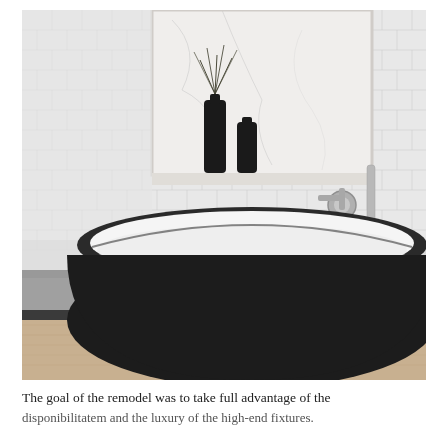[Figure (photo): Interior bathroom photo showing a large freestanding matte black oval bathtub with a white interior, set against white subway tile walls. Behind the tub is a framed marble panel with two dark glass bottles and dried grasses. Brushed nickel wall-mounted faucet fixtures are visible to the right. The floor is light wood. A dark shower pan edge is visible at the lower left.]
The goal of the remodel was to take full advantage of the disponibilitatem and the luxury of the high-end fixtures.